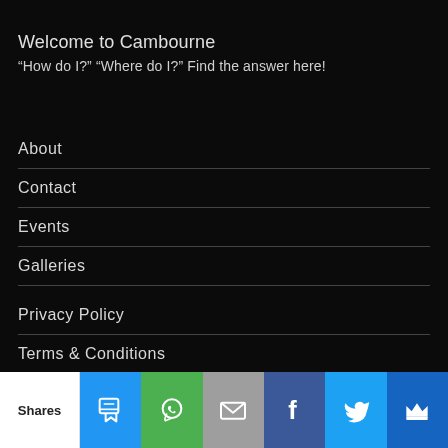Welcome to Cambourne
“How do I?” “Where do I?” Find the answer here!
About
Contact
Events
Galleries
Privacy Policy
Terms & Conditions
Cookies
Submit Your Photo
Shares | SMS | WhatsApp | Email | Facebook | Twitter | Crown